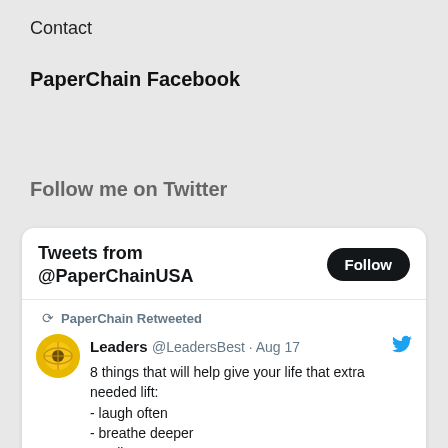Contact
PaperChain Facebook
Follow me on Twitter
[Figure (screenshot): Twitter widget showing Tweets from @PaperChainUSA with a Follow button, and a retweeted post by Leaders @LeadersBest from Aug 17 listing 8 things that will help give your life that extra needed lift: laugh often, breathe deeper, smile more, think like a creative]